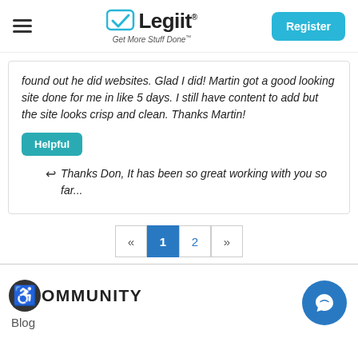Legiit - Get More Stuff Done — Register
found out he did websites. Glad I did! Martin got a good looking site done for me in like 5 days. I still have content to add but the site looks crisp and clean. Thanks Martin!
Helpful
Thanks Don, It has been so great working with you so far...
« 1 2 »
COMMUNITY
Blog